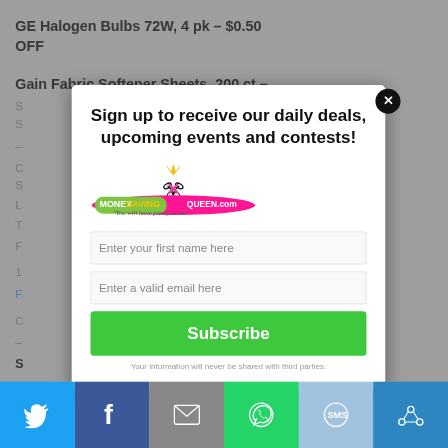GE Halogen Bulbs 72W, 4 pk – $0.50 OFF
Gain Fabric Softener Sheets, 200 ct –
[Figure (screenshot): Modal popup with MoneySavingQueen.com logo, email signup form with first name and email fields, Subscribe button, and close X button]
Subscribe
[Figure (infographic): Social sharing bar at bottom with Twitter, Facebook, Email, WhatsApp, SMS, and other sharing icons on colored backgrounds]